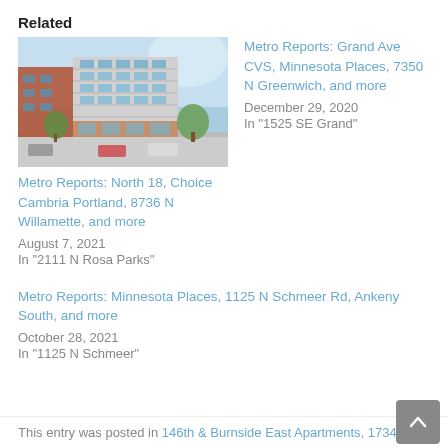Related
[Figure (photo): Architectural rendering of a modern multi-story apartment or mixed-use building with glass facade and trees]
Metro Reports: North 18, Choice Cambria Portland, 8736 N Willamette, and more
August 7, 2021
In "2111 N Rosa Parks"
Metro Reports: Grand Ave CVS, Minnesota Places, 7350 N Greenwich, and more
December 29, 2020
In "1525 SE Grand"
Metro Reports: Minnesota Places, 1125 N Schmeer Rd, Ankeny South, and more
October 28, 2021
In "1125 N Schmeer"
This entry was posted in 146th & Burnside East Apartments, 1734...